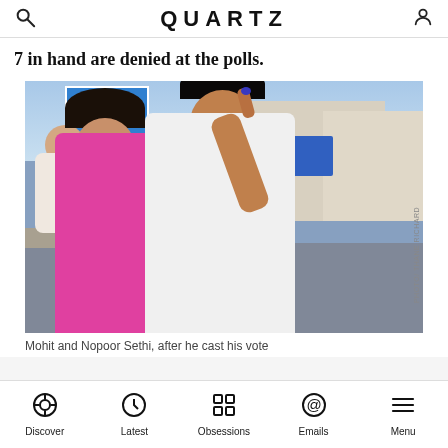QUARTZ
7 in hand are denied at the polls.
[Figure (photo): Mohit and Nopoor Sethi standing on a street after voting. The man is holding up his finger showing the ink mark from voting. The woman is holding a baby. Street scene with vehicles and buildings in background.]
Mohit and Nopoor Sethi, after he cast his vote
Discover  Latest  Obsessions  Emails  Menu